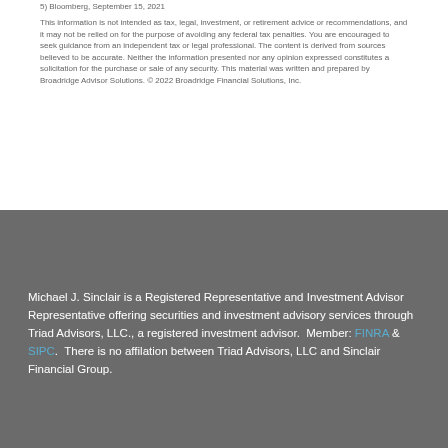5) Bloomberg, September 15, 2021
This information is not intended as tax, legal, investment, or retirement advice or recommendations, and it may not be relied on for the purpose of avoiding any federal tax penalties. You are encouraged to seek guidance from an independent tax or legal professional. The content is derived from sources believed to be accurate. Neither the information presented nor any opinion expressed constitutes a solicitation for the purchase or sale of any security. This material was written and prepared by Broadridge Advisor Solutions. © 2022 Broadridge Financial Solutions, Inc.
Michael J. Sinclair is a Registered Representative and Investment Advisor Representative offering securities and investment advisory services through Triad Advisors, LLC., a registered investment advisor.  Member: FINRA & SIPC.  There is no affilation between Triad Advisors, LLC and Sinclair Financial Group.